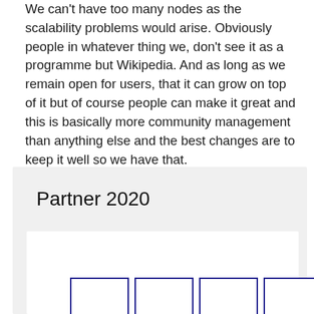We can't have too many nodes as the scalability problems would arise. Obviously people in whatever thing we, don't see it as a programme but Wikipedia. And as long as we remain open for users, that it can grow on top of it but of course people can make it great and this is basically more community management than anything else and the best changes are to keep it well so we have that.
Partner 2020
[Figure (other): A white card area containing four outlined rectangles/boxes arranged in a horizontal row, each with a dark blue/navy border, partially visible at the bottom of the page.]